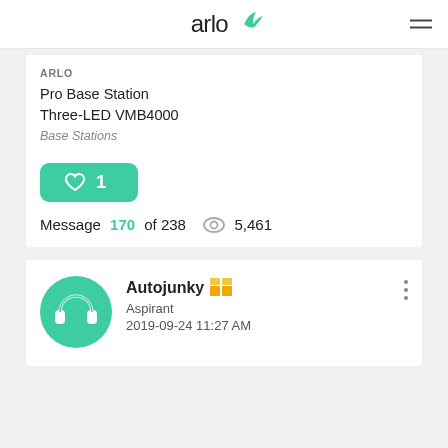arlo
ARLO
Pro Base Station Three-LED VMB4000
Base Stations
[Figure (other): Green like/heart button with count 1]
Message 170 of 238  5,461
Autojunky
Aspirant
2019-09-24 11:27 AM